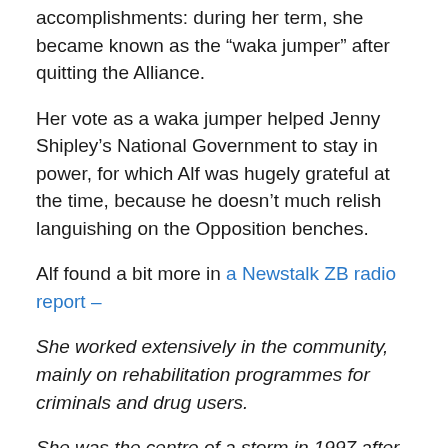accomplishments: during her term, she became known as the “waka jumper” after quitting the Alliance.
Her vote as a waka jumper helped Jenny Shipley’s National Government to stay in power, for which Alf was hugely grateful at the time, because he doesn’t much relish languishing on the Opposition benches.
Alf found a bit more in a Newstalk ZB radio report –
She worked extensively in the community, mainly on rehabilitation programmes for criminals and drug users.
She was the centre of a storm in 1997 after resigning from the Alliance Party, through which she’d been elected on the party list the year before, to go it alone in the House.
For that move, Alamein Kopu became known as the “waka